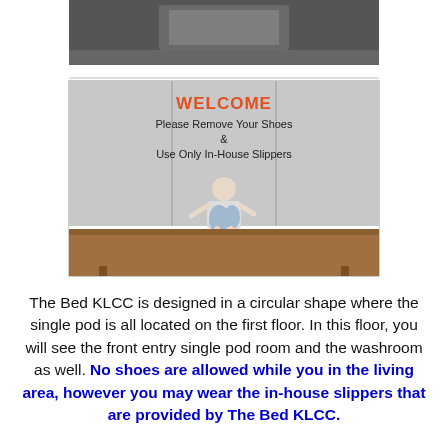[Figure (photo): Top portion of a room photo, partially cropped, dark grey tones]
[Figure (photo): Photo of a woman sitting on a wooden bench inside a hostel/hotel room with a WELCOME sign on the wall behind her reading: WELCOME / Please Remove Your Shoes / & / Use Only In-House Slippers]
The Bed KLCC is designed in a circular shape where the single pod is all located on the first floor. In this floor, you will see the front entry single pod room and the washroom as well. No shoes are allowed while you in the living area, however you may wear the in-house slippers that are provided by The Bed KLCC.